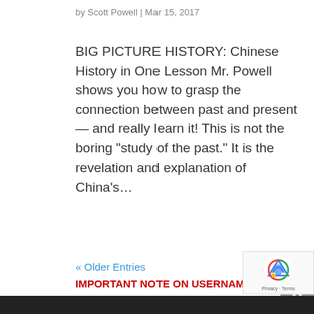by Scott Powell  |  Mar 15, 2017
BIG PICTURE HISTORY: Chinese History in One Lesson Mr. Powell shows you how to grasp the connection between past and present — and really learn it!  This is not the boring “study of the past.”  It is the revelation and explanation of China’s…
« Older Entries
IMPORTANT NOTE ON USERNAMES:
User names can only have lowercase letters and numbers in them.